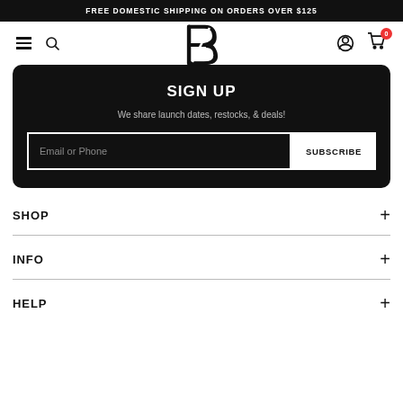FREE DOMESTIC SHIPPING ON ORDERS OVER $125
[Figure (logo): B logo mark in stylized italic bold font, black on white, navigation bar with hamburger menu, search icon, user icon, and cart icon with red badge showing 0]
SIGN UP
We share launch dates, restocks, & deals!
Email or Phone | SUBSCRIBE
SHOP
INFO
HELP